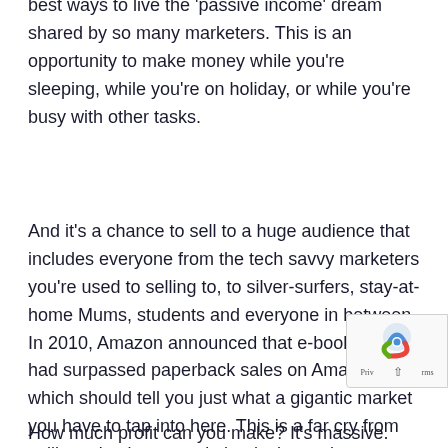best ways to live the 'passive income' dream shared by so many marketers. This is an opportunity to make money while you're sleeping, while you're on holiday, or while you're busy with other tasks.
And it's a chance to sell to a huge audience that includes everyone from the tech savvy marketers you're used to selling to, to silver-surfers, stay-at-home Mums, students and everyone in between. In 2010, Amazon announced that e-book sales had surpassed paperback sales on Amazon, which should tell you just what a gigantic market you have to tap into here. This is a far cry from selling a 'make money' ebook via a sales page on your website, which will only appeal to a relatively very small audience.
How much profit can you make? It's massive. Some people